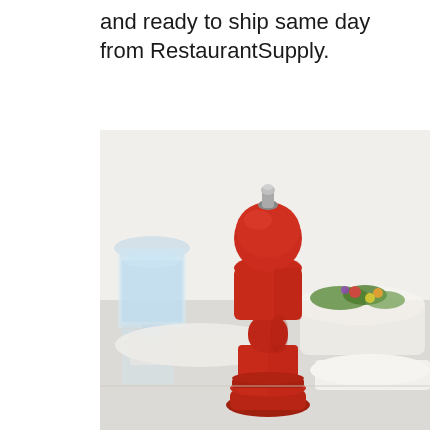and ready to ship same day from RestaurantSupply.
[Figure (photo): A red pepper mill / salt and pepper grinder standing upright on a white table, with a glass of water to the left and a salad bowl in the background.]